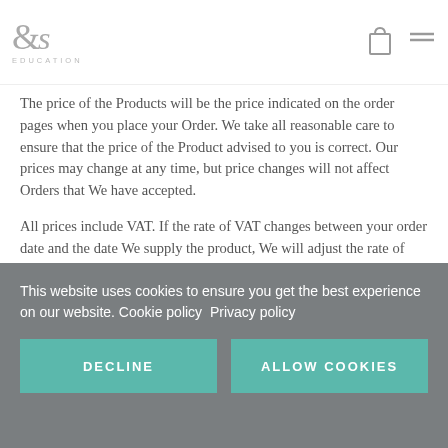& S EDUCATION
The price of the Products will be the price indicated on the order pages when you place your Order. We take all reasonable care to ensure that the price of the Product advised to you is correct. Our prices may change at any time, but price changes will not affect Orders that We have accepted.
All prices include VAT. If the rate of VAT changes between your order date and the date We supply the product, We will adjust the rate of VAT that you pay, unless you have already paid for the product in full before the change in the rate of VAT takes effect.
This website uses cookies to ensure you get the best experience on our website. Cookie policy  Privacy policy
DECLINE
ALLOW COOKIES